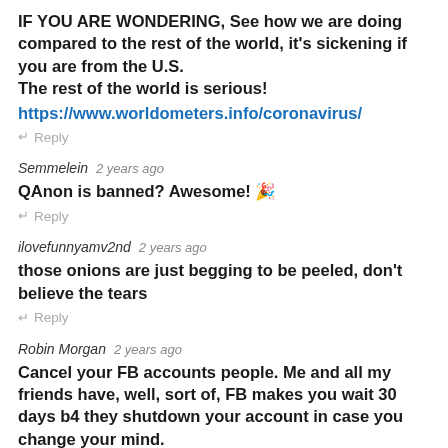IF YOU ARE WONDERING, See how we are doing compared to the rest of the world, it's sickening if you are from the U.S. The rest of the world is serious! https://www.worldometers.info/coronavirus/
↵ Reply
Semmelein 2 years ago
QAnon is banned? Awesome! 🎉
↵ Reply
ilovefunnyamv2nd 2 years ago
those onions are just begging to be peeled, don't believe the tears
↵ Reply
Robin Morgan 2 years ago
Cancel your FB accounts people. Me and all my friends have, well, sort of, FB makes you wait 30 days b4 they shutdown your account in case you change your mind.